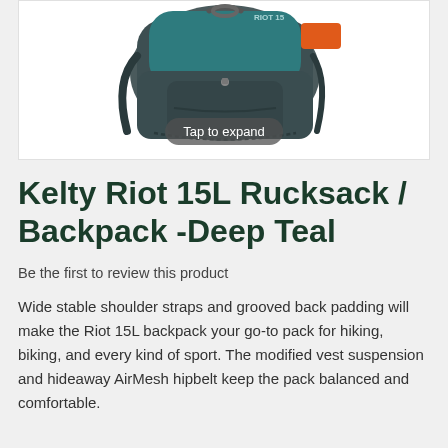[Figure (photo): A Kelty Riot 15L backpack in Deep Teal color with orange accent patch, shown from above/side angle. A 'Tap to expand' overlay button is visible at the bottom of the image.]
Kelty Riot 15L Rucksack / Backpack -Deep Teal
Be the first to review this product
Wide stable shoulder straps and grooved back padding will make the Riot 15L backpack your go-to pack for hiking, biking, and every kind of sport. The modified vest suspension and hideaway AirMesh hipbelt keep the pack balanced and comfortable.